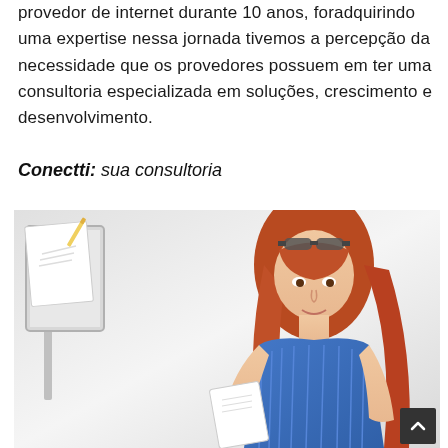provedor de internet durante 10 anos, foradquirindo uma expertise nessa jornada tivemos a percepção da necessidade que os provedores possuem em ter uma consultoria especializada em soluções, crescimento e desenvolvimento.
Conectti: sua consultoria
[Figure (photo): Woman with red hair and sunglasses on head, wearing a blue shirt, looking down at a document/tablet. A computer monitor or easel is visible on the left side. Light background.]